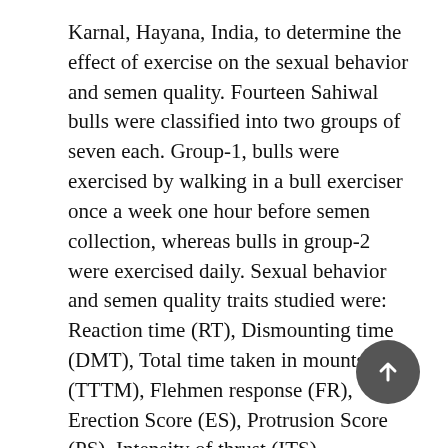Karnal, Hayana, India, to determine the effect of exercise on the sexual behavior and semen quality. Fourteen Sahiwal bulls were classified into two groups of seven each. Group-1, bulls were exercised by walking in a bull exerciser once a week one hour before semen collection, whereas bulls in group-2 were exercised daily. Sexual behavior and semen quality traits studied were: Reaction time (RT), Dismounting time (DMT), Total time taken in mounts (TTTM), Flehmen response (FR), Erection Score (ES), Protrusion Score (PS), Intensity of thrust (ITS), Temperament Score (TS), Libido Score (LS), Semen volume, Physical appearance, Mass activity, Initial progressive motility, Non-eosinophilic spermatozoa count (NESC) and post thaw motility percent. Data were analyzed by least squares technique. Group-2 showed significantly (p 0.01) higher value in RT (sec), DMT (sec), TTTM (sec), ES, PS, ITS, LS...